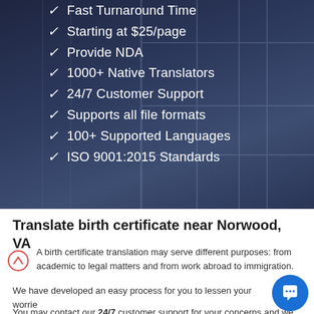[Figure (photo): Dark blue-tinted hero background with door/window lines visible, overlay checklist of service features in white text]
Fast Turnaround Time
Starting at $25/page
Provide NDA
1000+ Native Translators
24/7 Customer Support
Supports all file formats
100+ Supported Languages
ISO 9001:2015 Standards
Translate birth certificate near Norwood, VA
A birth certificate translation may serve different purposes: from academic to legal matters and from work abroad to immigration.
We have developed an easy process for you to lessen your worries. Simply upload your document and we will do the rest.
You may contact our 24/7 customer support for your concerns and we